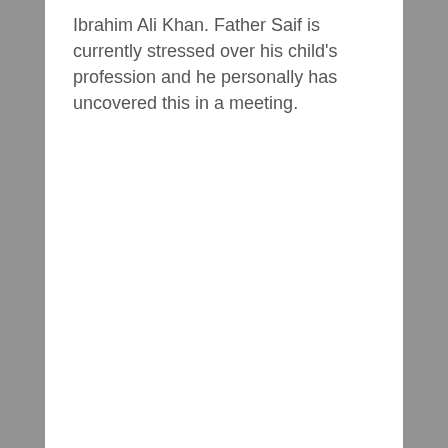Ibrahim Ali Khan. Father Saif is currently stressed over his child's profession and he personally has uncovered this in a meeting.